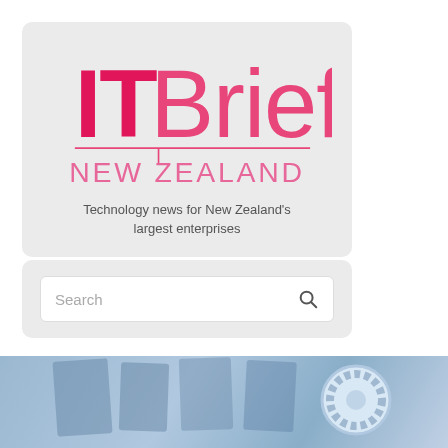[Figure (logo): IT Brief New Zealand logo on a light grey card background, with pink bold 'IT' and pink 'Brief' text, a pink horizontal rule with a downward tick mark, and pink 'NEW ZEALAND' text below]
Technology news for New Zealand's largest enterprises
[Figure (screenshot): Search bar UI element on a light grey card background with placeholder text 'Search' and a magnifying glass icon on the right]
[Figure (photo): Partial photo strip at the bottom showing a blurred blue-toned technology background with what appears to be a dial or control knob in the center-right]